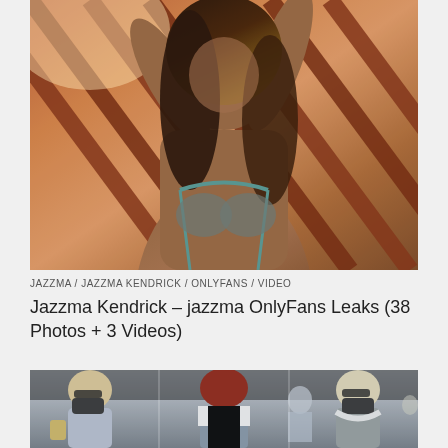[Figure (photo): Close-up photo of a dark-skinned woman with long brown hair, arms raised above her head, wearing a teal/silver bikini top, posed in front of diagonal reddish-brown slats or railings with bright light in background.]
JAZZMA / JAZZMA KENDRICK / ONLYFANS / VIDEO
Jazzma Kendrick – jazzma OnlyFans Leaks (38 Photos + 3 Videos)
[Figure (photo): Street photo showing three women wearing face masks outdoors. From left: a blonde woman in sunglasses with a handbag, a red-haired woman in the center facing away wearing a grey vest, and on the right side a woman in sunglasses with light hair wearing a grey sleeveless top with a white scarf.]